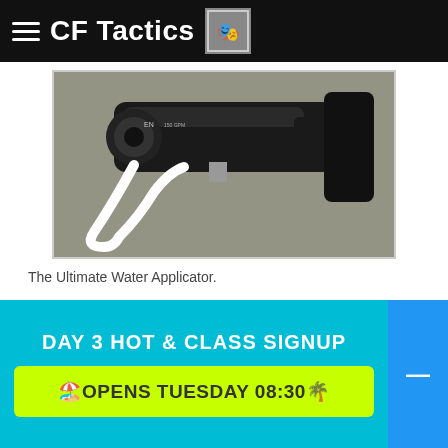CF Tactics
[Figure (photo): Close-up photo of a water nozzle/applicator device, black metal hardware with hose connections, placed on concrete ground]
The Ultimate Water Applicator.
1. 150 Gallons Per Minute or 2.5 GPS
2. 60 + Feet of reach
3. 60 lbs Nozzle Reaction
DAY 3 HOT & CLASS SIGNUP
🏖️OPENS TUESDAY 08:30🌴